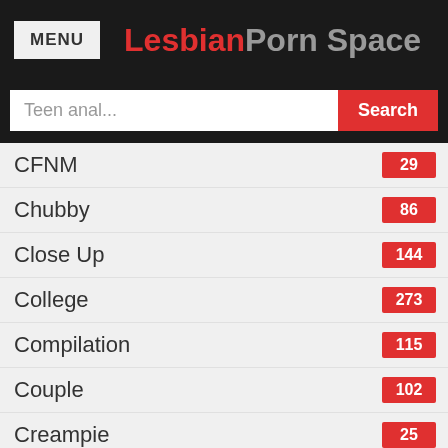MENU | LesbianPorn Space
Teen anal... [Search]
CFNM 29
Chubby 86
Close Up 144
College 273
Compilation 115
Couple 102
Creampie 25
Cuckold 35
Cum Swap 2
Cumshot 61
Deep Throat 46